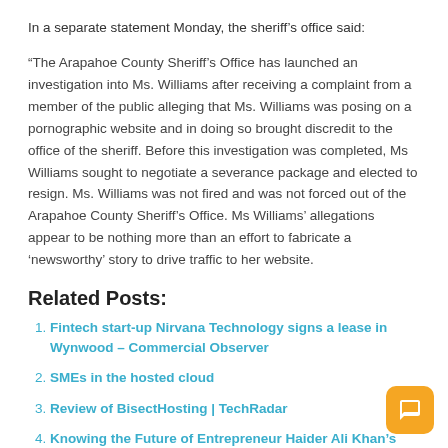In a separate statement Monday, the sheriff’s office said:
“The Arapahoe County Sheriff’s Office has launched an investigation into Ms. Williams after receiving a complaint from a member of the public alleging that Ms. Williams was posing on a pornographic website and in doing so brought discredit to the office of the sheriff. Before this investigation was completed, Ms Williams sought to negotiate a severance package and elected to resign. Ms. Williams was not fired and was not forced out of the Arapahoe County Sheriff’s Office. Ms Williams’ allegations appear to be nothing more than an effort to fabricate a ‘newsworthy’ story to drive traffic to her website.
Related Posts:
Fintech start-up Nirvana Technology signs a lease in Wynwood – Commercial Observer
SMEs in the hosted cloud
Review of BisectHosting | TechRadar
Knowing the Future of Entrepreneur Haider Ali Khan’s Web